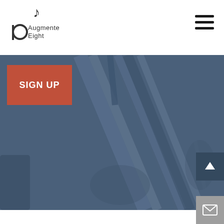[Figure (logo): Augmented Eight music logo with musical notes and text 'Augmented Eight']
[Figure (other): Hamburger menu icon (three horizontal lines)]
[Figure (photo): Dark blue-grey hero image showing a stringed instrument (cello/bass) silhouette]
SIGN UP
[Figure (other): Back to top arrow button (dark background, white up arrow)]
[Figure (other): Email/envelope button (grey background, white envelope icon)]